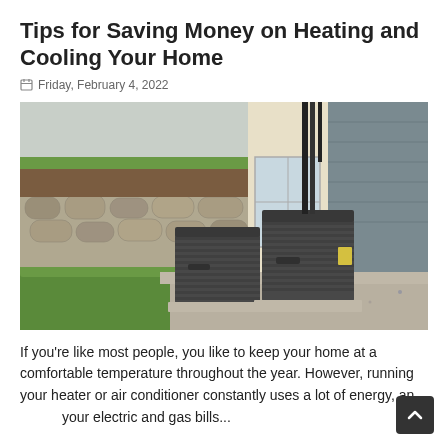Tips for Saving Money on Heating and Cooling Your Home
Friday, February 4, 2022
[Figure (photo): Two outdoor HVAC air conditioning units sitting on concrete pads against a house with stone retaining wall and green grass in background]
If you're like most people, you like to keep your home at a comfortable temperature throughout the year. However, running your heater or air conditioner constantly uses a lot of energy, and your electric and gas bills...